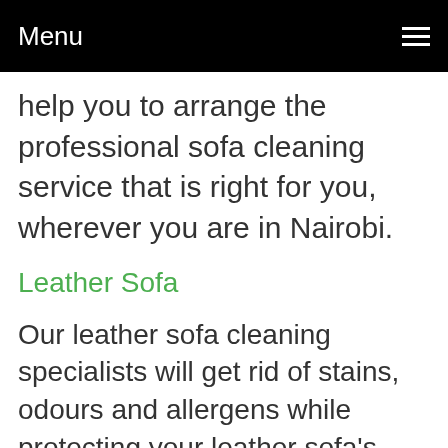Menu
help you to arrange the professional sofa cleaning service that is right for you, wherever you are in Nairobi.
Leather Sofa
Our leather sofa cleaning specialists will get rid of stains, odours and allergens while protecting your leather sofa's delicate fabrics!
We provide all leather services including cleaning and conditioning, repairs, restoration, reconditioning, refinishing,